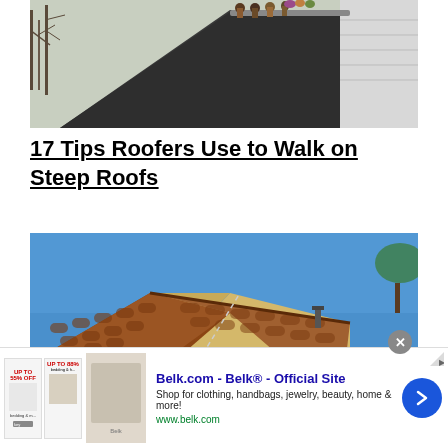[Figure (photo): Workers walking on a steep residential roof with bare trees and white siding visible in the background]
17 Tips Roofers Use to Walk on Steep Roofs
[Figure (photo): Close-up of a house with terracotta/clay tile roof and yellow siding against a bright blue sky]
[Figure (other): Advertisement banner for Belk.com - Belk Official Site. Shop for clothing, handbags, jewelry, beauty, home and more! www.belk.com]